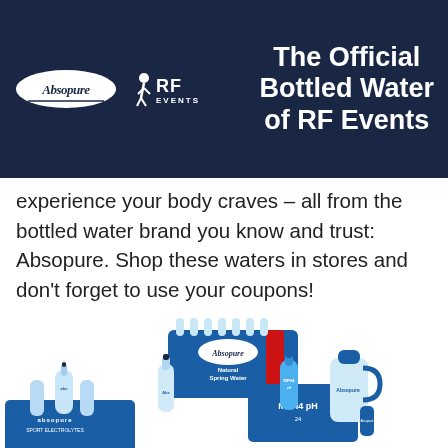The Official Bottled Water of RF Events
experience your body craves – all from the bottled water brand you know and trust: Absopure. Shop these waters in stores and don't forget to use your coupons!
[Figure (photo): Absopure bottled water products including a 40-pack case of natural spring water, a multi-pack of sport bottles, a flat of MPH4 pH water, and a large jug with a gallon bottle.]